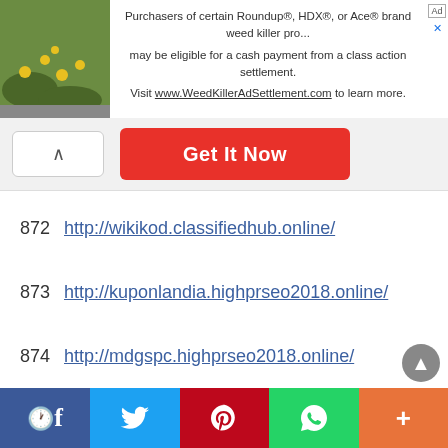[Figure (screenshot): Ad banner with plant image on the left and text about Roundup/HDX/Ace brand weed killer class action settlement. Button bar with collapse arrow and red 'Get It Now' button.]
872  http://wikikod.classifiedhub.online/
873  http://kuponlandia.highprseo2018.online/
874  http://mdgspc.highprseo2018.online/
875  http://keithvarias.highprseo2018.online/
876  http://thepitapit.highprseo2018.online/
877  http://talkradioforums.searchclassified.online/
878  http://addaurl.searchclassified.online/
[Figure (screenshot): Social share bar at bottom with Facebook, Twitter, Pinterest, WhatsApp, and More buttons]